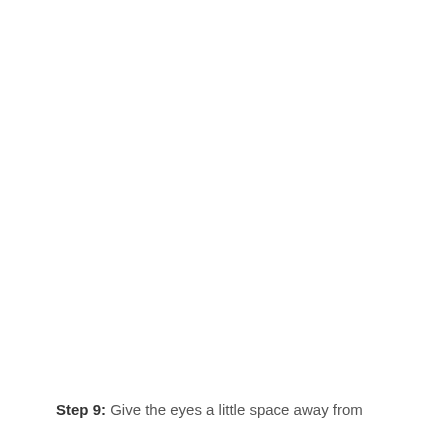Step 9: Give the eyes a little space away from